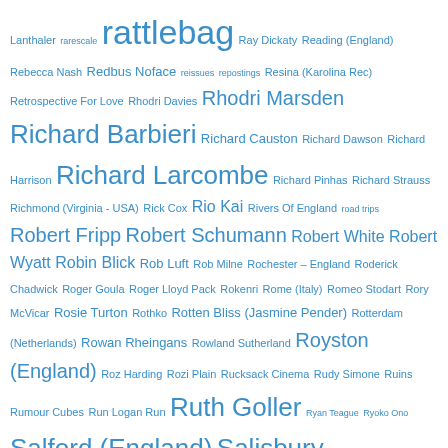Lanthaler rarescale rattlebag Ray Dickaty Reading (England) Rebecca Nash Redbus Noface reissues repostings Resina (Karolina Rec) Retrospective For Love Rhodri Davies Rhodri Marsden Richard Barbieri Richard Causton Richard Dawson Richard Harrison Richard Larcombe Richard Pinhas Richard Strauss Richmond (Virginia - USA) Rick Cox Rio Kai Rivers Of England road trips Robert Fripp Robert Schumann Robert White Robert Wyatt Robin Blick Rob Luft Rob Milne Rochester – England Roderick Chadwick Roger Goula Roger Lloyd Pack Rokenri Rome (Italy) Romeo Stodart Rory McVicar Rosie Turton Rothko Rotten Bliss (Jasmine Pender) Rotterdam (Netherlands) Rowan Rheingans Rowland Sutherland Royston (England) Roz Harding Rozi Plain Rucksack Cinema Rudy Simone Ruins Rumour Cubes Run Logan Run Ruth Goller Ryan Teague Ryoko Ono Salford (England) Salisbury (England) Sally Beamish Sally Davies Salvatore Sciarrino Sam Barton Samuel Hällkvist Sandy Gordon San Francisco (USA) Sanguine Hum Sarah Angliss Sarah Dacey Sarah Jones (Sarah Smith) Sarah Measures Sarah Tolan-Mee saxophone music Sax Ruins Schnellertollermeir School Of Noise Scordatura Women's Music Collective Scott Miller Scott Wilson screeching vocals Scritti Politti Sea Change Sealionwoman Seattle (Washington - USA) Seb Silas